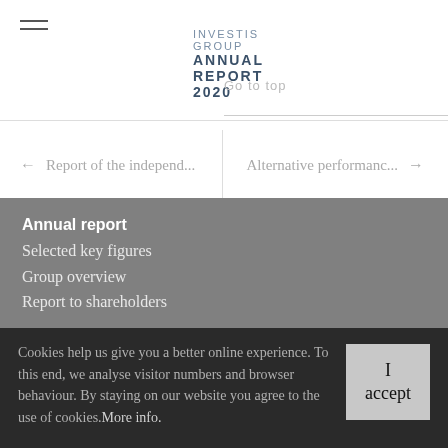INVESTIS GROUP ANNUAL REPORT 2020
Go to top
← Report of the independ...
Alternative performanc... →
Annual report
Selected key figures
Group overview
Report to shareholders
Cookies help us give you a better online experience. To this end, we analyse visitor numbers and browser behaviour. By staying on our website you agree to the use of cookies. More info.